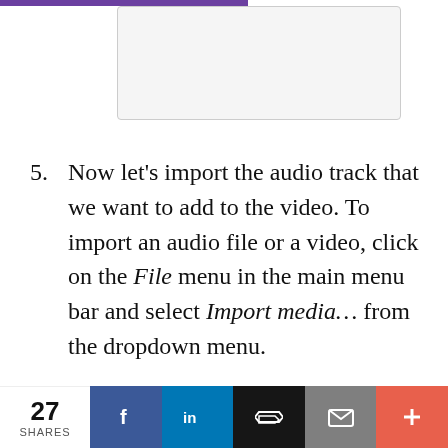[Figure (screenshot): Screenshot placeholder box showing a video editing interface area, partially visible at top of page]
5. Now let’s import the audio track that we want to add to the video. To import an audio file or a video, click on the File menu in the main menu bar and select Import media… from the dropdown menu.
27 SHARES | Facebook | LinkedIn | Buffer | Email | More